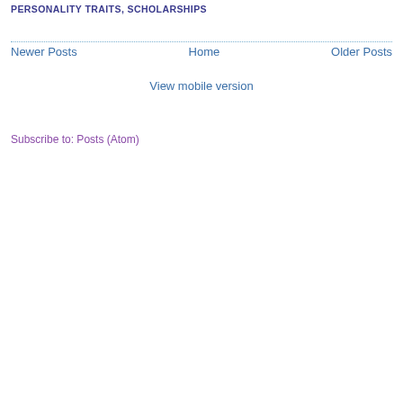PERSONALITY TRAITS, SCHOLARSHIPS
Newer Posts    Home    Older Posts
View mobile version
Subscribe to: Posts (Atom)